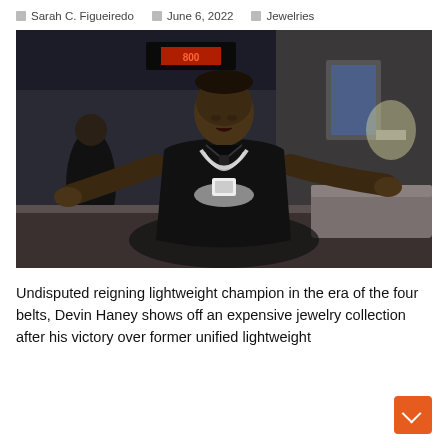Sarah C. Figueiredo   June 6, 2022   Jewelries
[Figure (photo): Devin Haney in black leather jacket with diamond chain jewelry, arms spread wide, indoor setting]
Undisputed reigning lightweight champion in the era of the four belts, Devin Haney shows off an expensive jewelry collection after his victory over former unified lightweight